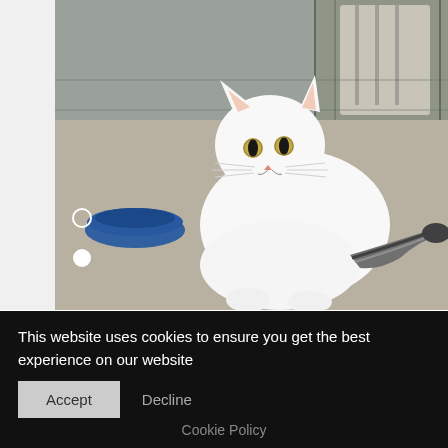[Figure (photo): A white cat with a dark striped tail sitting on a concrete floor outdoors, with a blue water bowl to its left and metal cage structures visible in the background. Two carousel navigation dots are visible on the left side of the image.]
DIPSTICK
This website uses cookies to ensure you get the best experience on our website
Accept   Decline
Cookie Policy